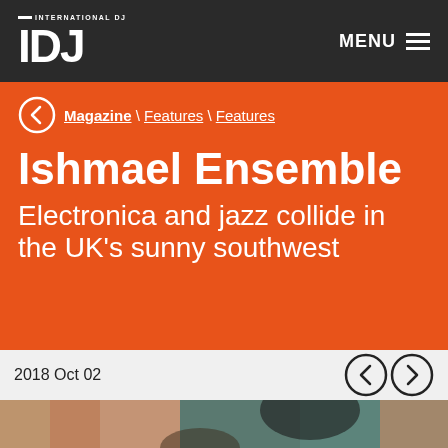INTERNATIONAL DJ IDJ — MENU
< Magazine \ Features \ Features
Ishmael Ensemble
Electronica and jazz collide in the UK's sunny southwest
2018 Oct 02
[Figure (photo): Photo of band members from Ishmael Ensemble, partially visible at bottom of page]